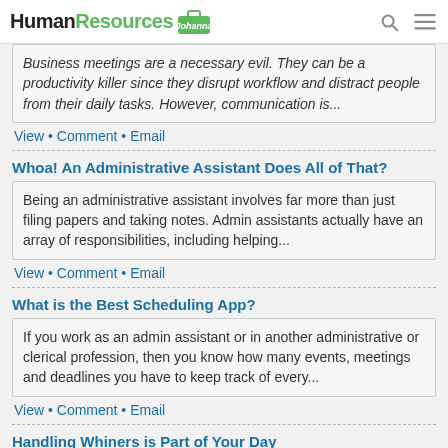HumanResources Johanna
Business meetings are a necessary evil. They can be a productivity killer since they disrupt workflow and distract people from their daily tasks. However, communication is...
View • Comment • Email
Whoa! An Administrative Assistant Does All of That?
Being an administrative assistant involves far more than just filing papers and taking notes. Admin assistants actually have an array of responsibilities, including helping...
View • Comment • Email
What is the Best Scheduling App?
If you work as an admin assistant or in another administrative or clerical profession, then you know how many events, meetings and deadlines you have to keep track of every...
View • Comment • Email
Handling Whiners is Part of Your Day
Almost every office worker has to put up with one or two